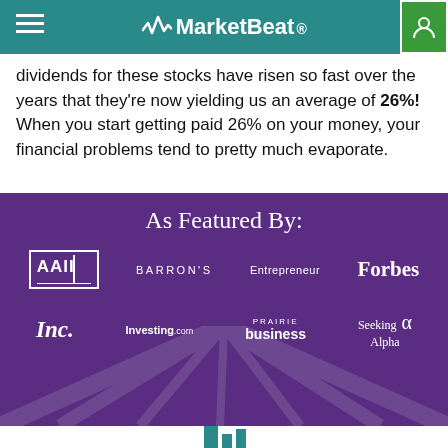MarketBeat
dividends for these stocks have risen so fast over the years that they're now yielding us an average of 26%! When you start getting paid 26% on your money, your financial problems tend to pretty much evaporate.
[Figure (infographic): Purple 'As Featured By' section showing logos of AAII, Barron's, Entrepreneur, Forbes, Inc., Investing.com, Prairie Business, and Seeking Alpha on a purple background]
[Figure (logo): Partial MarketBeat logo visible at the bottom of the page]